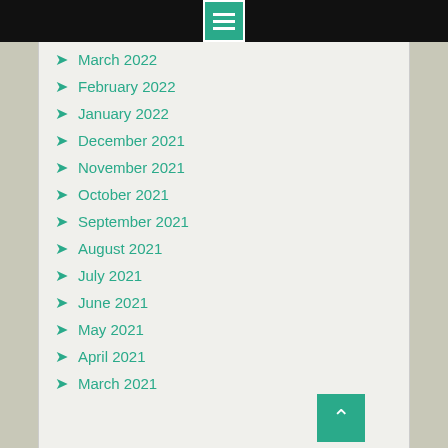Menu
March 2022
February 2022
January 2022
December 2021
November 2021
October 2021
September 2021
August 2021
July 2021
June 2021
May 2021
April 2021
March 2021